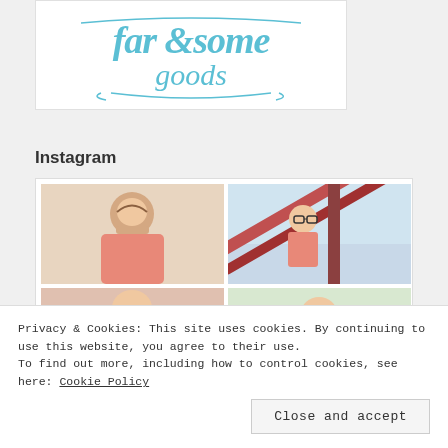[Figure (logo): Handwritten-style logo reading 'far & some goods' in teal/turquoise script on white background]
Instagram
[Figure (photo): Two Instagram photos in top row: left shows a girl in pink shirt leaning on hand, right shows a girl with glasses on playground equipment. Two partially visible photos in bottom row.]
Privacy & Cookies: This site uses cookies. By continuing to use this website, you agree to their use.
To find out more, including how to control cookies, see here: Cookie Policy
Close and accept